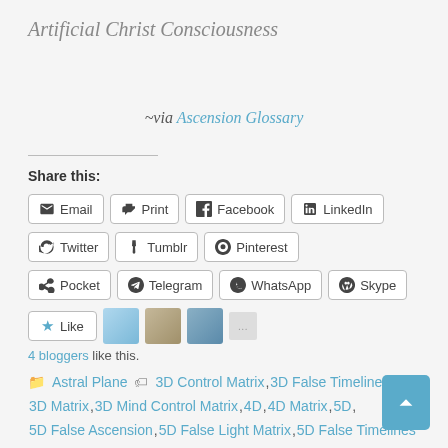Artificial Christ Consciousness
~via Ascension Glossary
Share this:
Email  Print  Facebook  LinkedIn  Reddit  Twitter  Tumblr  Pinterest  Pocket  Telegram  WhatsApp  Skype
Like  4 bloggers like this.
Astral Plane   3D Control Matrix, 3D False Timelines, 3D Matrix, 3D Mind Control Matrix, 4D, 4D Matrix, 5D, 5D False Ascension, 5D False Light Matrix, 5D False Timelines,